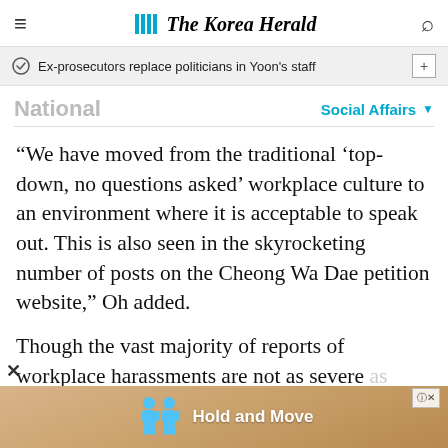The Korea Herald
Ex-prosecutors replace politicians in Yoon's staff
National
Social Affairs
“We have moved from the traditional ‘top-down, no questions asked’ workplace culture to an environment where it is acceptable to speak out. This is also seen in the skyrocketing number of posts on the Cheong Wa Dae petition website,” Oh added.
Though the vast majority of reports of workplace harassments are not as severe as
[Figure (illustration): Mobile advertisement banner showing 'Hold and Move' with cartoon figures, partially visible at bottom of page]